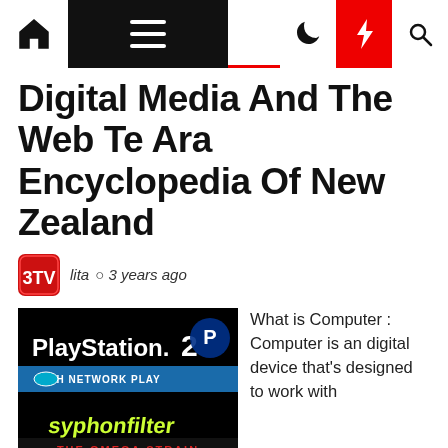Navigation bar with home, menu, dark mode, flash, and search icons
Digital Media And The Web Te Ara Encyclopedia Of New Zealand
lita  3 years ago
[Figure (screenshot): PlayStation 2 game cover for Syphon Filter: The Omega Strain, with Network Play label and PlayStation logo]
What is Computer : Computer is an digital device that's designed to work with